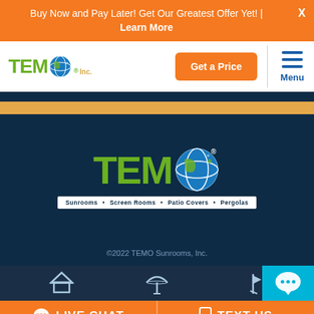Buy Now and Pay Later! Get Our Greatest Offer Yet! | Learn More
[Figure (logo): TEMO Inc. logo with globe icon in navigation bar]
[Figure (logo): Large TEMO logo with globe icon and tagline: Sunrooms • Screen Rooms • Patio Covers • Pergolas on dark blue background]
©2022 TEMO Sunrooms, Inc.
LIVE CHAT
TEXT US